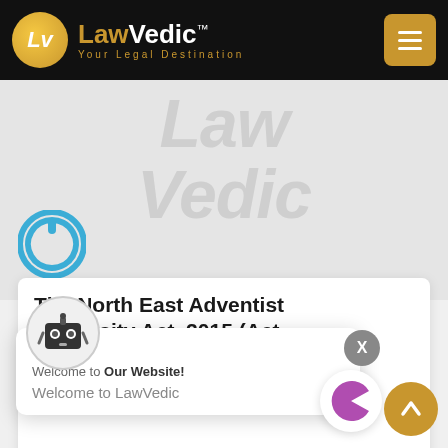[Figure (logo): LawVedic logo with golden circle LV monogram, site name LawVedic with tagline Your Legal Destination, and golden hamburger menu button on black header background]
[Figure (illustration): Watermark area with large faded LawVedic text and power button icon overlay]
The North East Adventist University Act, 2015 (Act
[Figure (screenshot): Popup dialog with robot avatar, Welcome to Our Website! heading, and Welcome to LawVedic body text]
University in the State, with emphasis o... providing big